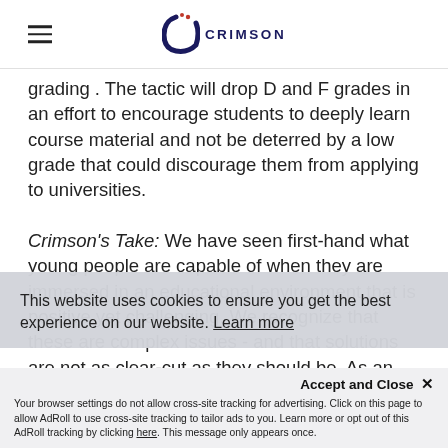CRIMSON
grading . The tactic will drop D and F grades in an effort to encourage students to deeply learn course material and not be deterred by a low grade that could discourage them from applying to universities.
Crimson's Take: We have seen first-hand what young people are capable of when they are immersed in an educational environment that is positive yet challenging. We recognize that these are complex issues - and that solutions are not as clear-cut as they should be. As an organization that believes in leveling the playing field for students everywhere, we see this move as an important step in expanding equitable access to higher education and helping students realize their potential.
This website uses cookies to ensure you get the best experience on our website. Learn more
Accept and Close ✕
Your browser settings do not allow cross-site tracking for advertising. Click on this page to allow AdRoll to use cross-site tracking to tailor ads to you. Learn more or opt out of this AdRoll tracking by clicking here. This message only appears once.